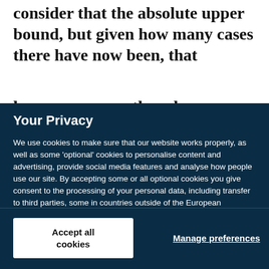consider that the absolute upper bound, but given how many cases there have now been, that [cut off]
Your Privacy
We use cookies to make sure that our website works properly, as well as some ‘optional’ cookies to personalise content and advertising, provide social media features and analyse how people use our site. By accepting some or all optional cookies you give consent to the processing of your personal data, including transfer to third parties, some in countries outside of the European Economic Area that do not offer the same data protection standards as the country where you live. You can decide which optional cookies to accept by clicking on ‘Manage Settings’, where you can also find more information about how your personal data is processed. Further information can be found in our privacy policy.
Accept all cookies
Manage preferences